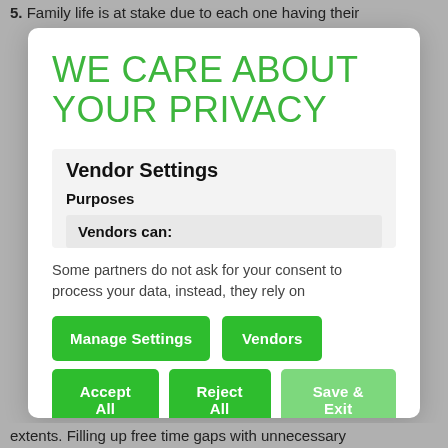5. Family life is at stake due to each one having their
WE CARE ABOUT YOUR PRIVACY
Vendor Settings
Purposes
Vendors can:
Some partners do not ask for your consent to process your data, instead, they rely on
Manage Settings
Vendors
Accept All
Reject All
Save & Exit
extents. Filling up free time gaps with unnecessary